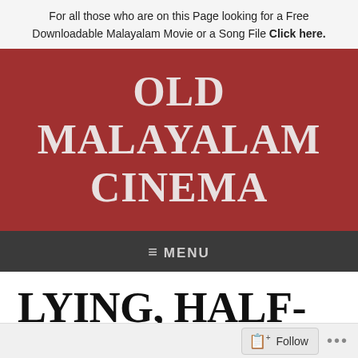For all those who are on this Page looking for a Free Downloadable Malayalam Movie or a Song File Click here.
OLD MALAYALAM CINEMA
≡ MENU
LYING, HALF-IGNORANT TACTICS TO SELL YOU A CRAPPY